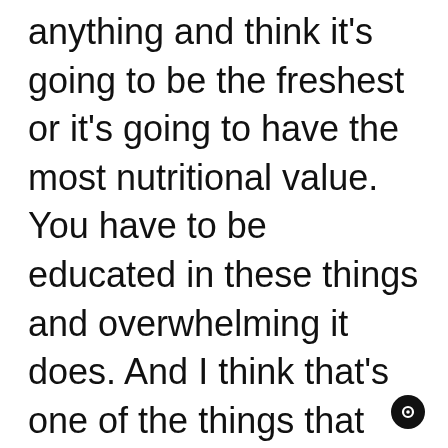anything and think it's going to be the freshest or it's going to have the most nutritional value. You have to be educated in these things and overwhelming it does. And I think that's one of the things that stop people from cooking, eating well or even taking action to take control of their health
[Figure (other): Small circular icon with a question mark or similar symbol, positioned at bottom right]